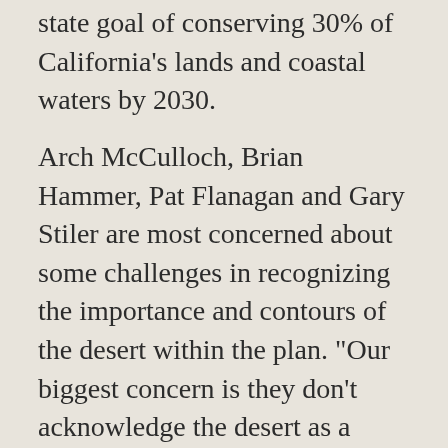state goal of conserving 30% of California's lands and coastal waters by 2030.
Arch McCulloch, Brian Hammer, Pat Flanagan and Gary Stiler are most concerned about some challenges in recognizing the importance and contours of the desert within the plan. "Our biggest concern is they don't acknowledge the desert as a whole, they only acknowledge a piece of it. Nor does the state acknowledge that the CA Desert sequesters 10% of the state's carbon. We want them to explore what's there," reports Flanagan.
In a February 2022 letter co-signed by